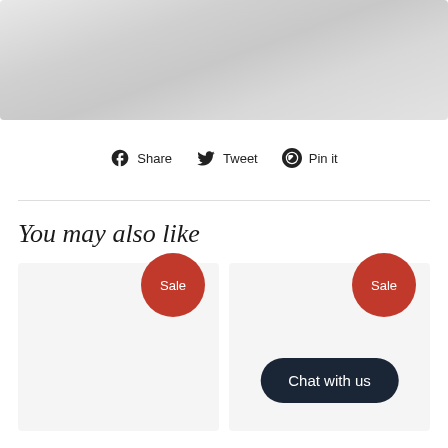[Figure (photo): Close-up photo of white/light grey fabric or textile material]
Share  Tweet  Pin it
You may also like
[Figure (photo): Product card with Sale badge]
[Figure (photo): Product card with Sale badge and Chat with us button]